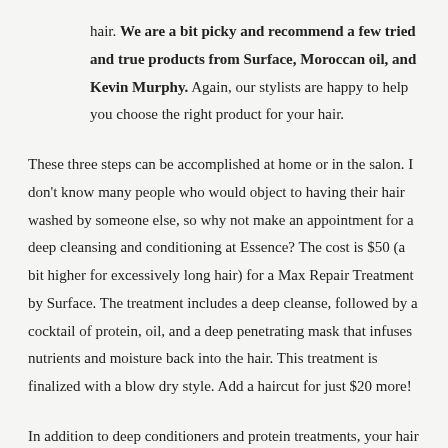hair. We are a bit picky and recommend a few tried and true products from Surface, Moroccan oil, and Kevin Murphy. Again, our stylists are happy to help you choose the right product for your hair.
These three steps can be accomplished at home or in the salon. I don't know many people who would object to having their hair washed by someone else, so why not make an appointment for a deep cleansing and conditioning at Essence? The cost is $50 (a bit higher for excessively long hair) for a Max Repair Treatment by Surface. The treatment includes a deep cleanse, followed by a cocktail of protein, oil, and a deep penetrating mask that infuses nutrients and moisture back into the hair. This treatment is finalized with a blow dry style. Add a haircut for just $20 more!
In addition to deep conditioners and protein treatments, your hair could use some simple, common sense daily care. The most basic thing you can do is